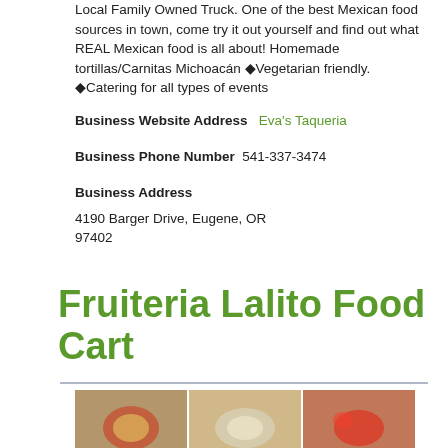Local Family Owned Truck. One of the best Mexican food sources in town, come try it out yourself and find out what REAL Mexican food is all about! Homemade tortillas/Carnitas Michoacán ◆Vegetarian friendly. ◆Catering for all types of events
Business Website Address   Eva's Taqueria
Business Phone Number  541-337-3474
Business Address
4190 Barger Drive, Eugene, OR 97402
Fruiteria Lalito Food Cart
[Figure (photo): Grid of food photos showing colorful food items in cups and bowls]